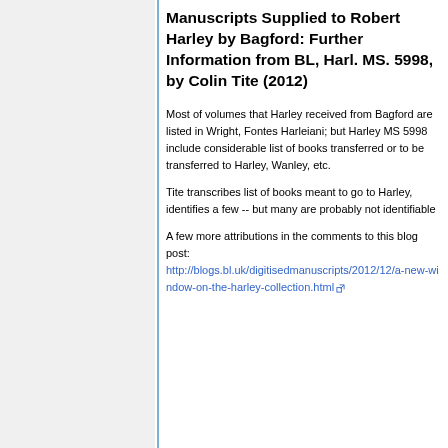Manuscripts Supplied to Robert Harley by Bagford: Further Information from BL, Harl. MS. 5998, by Colin Tite (2012)
Most of volumes that Harley received from Bagford are listed in Wright, Fontes Harleiani; but Harley MS 5998 include considerable list of books transferred or to be transferred to Harley, Wanley, etc.
Tite transcribes list of books meant to go to Harley, identifies a few -- but many are probably not identifiable
A few more attributions in the comments to this blog post: http://blogs.bl.uk/digitisedmanuscripts/2012/12/a-new-window-on-the-harley-collection.html